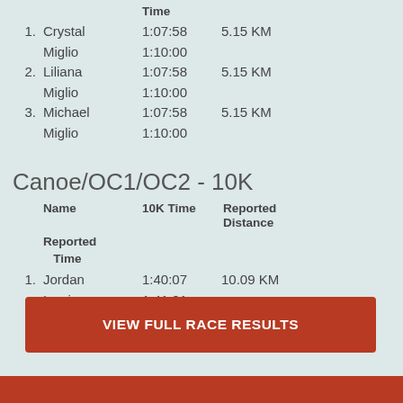| # | Name | Time | Reported Distance | Reported Time |
| --- | --- | --- | --- | --- |
| 1. | Crystal | 1:07:58 | 5.15 KM |  |
|  | Miglio | 1:10:00 |  |  |
| 2. | Liliana | 1:07:58 | 5.15 KM |  |
|  | Miglio | 1:10:00 |  |  |
| 3. | Michael | 1:07:58 | 5.15 KM |  |
|  | Miglio | 1:10:00 |  |  |
Canoe/OC1/OC2 - 10K
| # | Name | 10K Time | Reported Distance | Reported Time |
| --- | --- | --- | --- | --- |
| 1. | Jordan | 1:40:07 | 10.09 KM |  |
|  | Lewis | 1:41:01 |  |  |
VIEW FULL RACE RESULTS